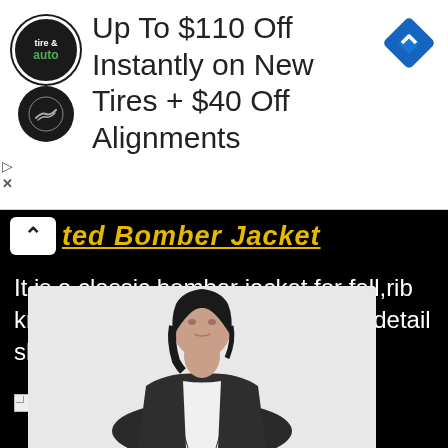[Figure (other): Advertisement banner: Tire & Auto logo on left, text 'Up To $110 Off Instantly on New Tires + $40 Off Alignments', blue diamond navigation icon on right]
Up To $110 Off Instantly on New Tires + $40 Off Alignments
ted Bomber Jacket
It is a classic bomber jacket for fall,rib knit collar•sleeve and waist.every detail shows neat and efficient.
[Figure (photo): Broken image placeholder labeled '91' followed by a product photo of a woman wearing a dark bomber jacket over a white top, on a light gray background]